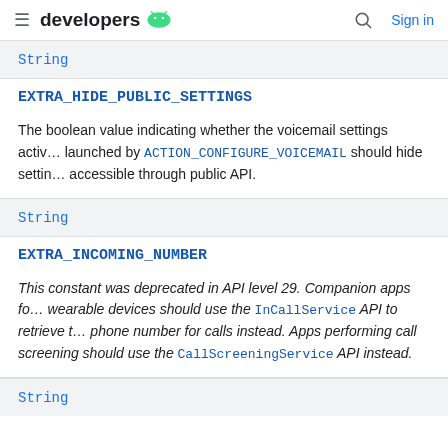developers
String
EXTRA_HIDE_PUBLIC_SETTINGS
The boolean value indicating whether the voicemail settings activity launched by ACTION_CONFIGURE_VOICEMAIL should hide settings accessible through public API.
String
EXTRA_INCOMING_NUMBER
This constant was deprecated in API level 29. Companion apps for wearable devices should use the InCallService API to retrieve the phone number for calls instead. Apps performing call screening should use the CallScreeningService API instead.
String